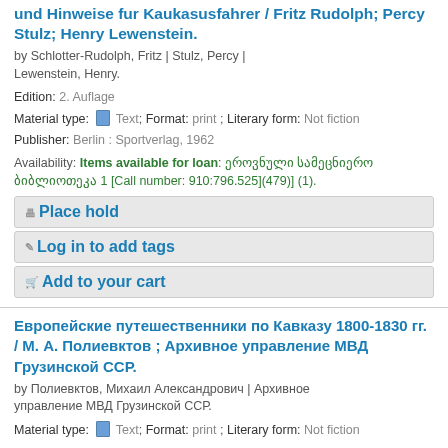und Hinweise fur Kaukasusfahrer / Fritz Rudolph; Percy Stulz; Henry Lewenstein.
by Schlotter-Rudolph, Fritz | Stulz, Percy | Lewenstein, Henry.
Edition: 2. Auflage
Material type: Text; Format: print ; Literary form: Not fiction
Publisher: Berlin : Sportverlag, 1962
Availability: Items available for loan: ეროვნული სამეცნიერო ბიბლიოთეკა 1 [Call number: 910:796.525](479)] (1).
Place hold
Log in to add tags
Add to your cart
Европейские путешественники по Кавказу 1800-1830 гг. / М. А. Полиевктов ; Архивное управление МВД Грузинской ССР.
by Полиевктов, Михаил Александрович | Архивное управление МВД Грузинской ССР.
Material type: Text; Format: print ; Literary form: Not fiction